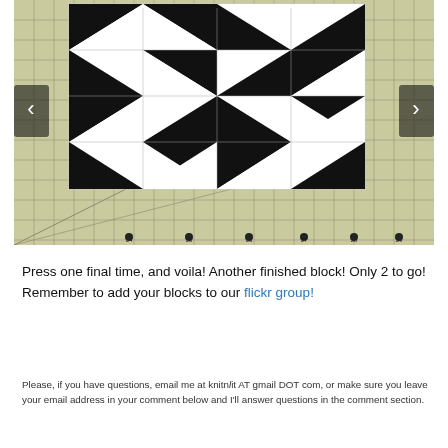[Figure (photo): A black and white pinwheel quilt block laid on a green cutting mat with grid lines. The block features alternating black and white triangles arranged in a pinwheel/star pattern. Navigation arrows (left and right) are visible on the sides of the image.]
Press one final time, and voila! Another finished block! Only 2 to go! Remember to add your blocks to our flickr group!
Please, if you have questions, email me at knitnlit AT gmail DOT com, or make sure you leave your email address in your comment below and I'll answer questions in the comment section.